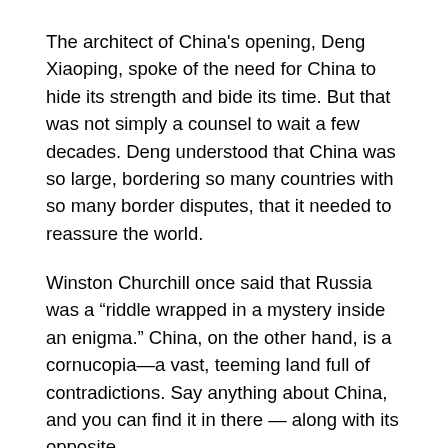The architect of China's opening, Deng Xiaoping, spoke of the need for China to hide its strength and bide its time. But that was not simply a counsel to wait a few decades. Deng understood that China was so large, bordering so many countries with so many border disputes, that it needed to reassure the world.
Winston Churchill once said that Russia was a “riddle wrapped in a mystery inside an enigma.” China, on the other hand, is a cornucopia—a vast, teeming land full of contradictions. Say anything about China, and you can find it in there — along with its opposite.
Will Xi be able to control this sprawling country and force it along the lines he wishes?
So far, he has succeeded at home. But in doing so, he is